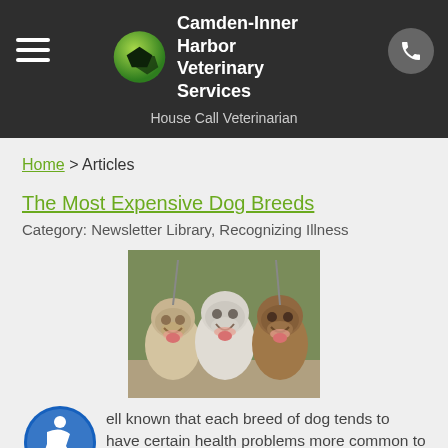Camden-Inner Harbor Veterinary Services — House Call Veterinarian
Home > Articles
The Most Expensive Dog Breeds
Category: Newsletter Library, Recognizing Illness
[Figure (photo): Three English Bulldogs standing together, mouths open and tongues out]
It is well known that each breed of dog tends to have certain health problems more common to that